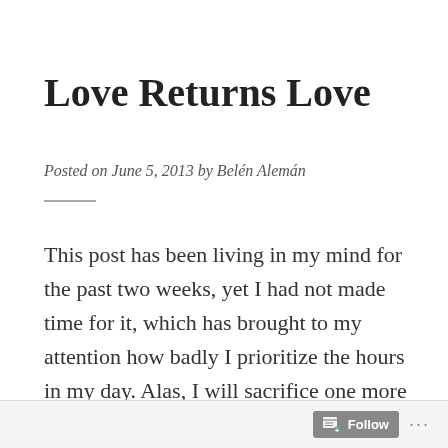Love Returns Love
Posted on June 5, 2013 by Belén Alemán
This post has been living in my mind for the past two weeks, yet I had not made time for it, which has brought to my attention how badly I prioritize the hours in my day. Alas, I will sacrifice one more night's sleep for the sake of letting it breathe.
Follow